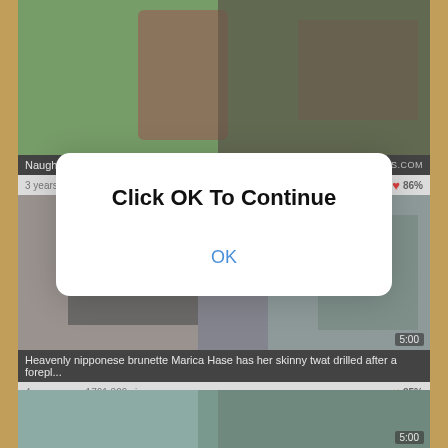[Figure (screenshot): Video thumbnail showing adult content with green background]
Naughty Kita Zen bends over to take a fierce pounding
BANGBROS.COM
3 years ago  2 329 views  86%
[Figure (screenshot): Video thumbnail showing adult content with light background]
Heavenly nipponese brunette Marica Hase has her skinny twat drilled after a forepl...
4 years ago  1761 309 views  85%
[Figure (screenshot): Video thumbnail showing adult content with colorful background]
Click OK To Continue
OK